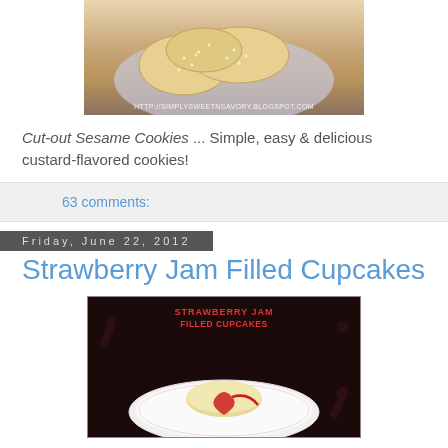[Figure (photo): Photo of cut-out sesame cookies on a plate with watermark HTTP://SIMPLYSWEETNSAVORY.BLOGSPOT.COM]
Cut-out Sesame Cookies ... Simple, easy & delicious custard-flavored cookies!
63 comments:
Friday, June 22, 2012
Strawberry Jam Filled Cupcakes
[Figure (photo): Photo of a strawberry jam filled cupcake on a decorative plate with text overlay STRAWBERRY JAM FILLED CUPCAKES]